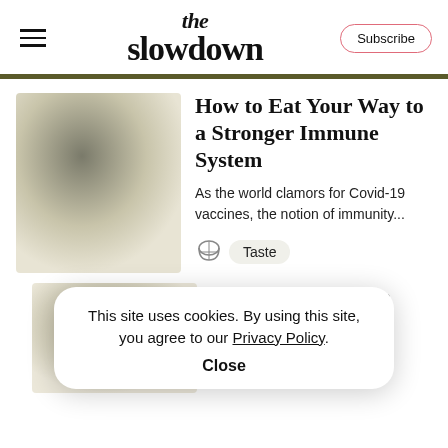the slowdown
[Figure (photo): Blurred gradient thumbnail image for article about immune system]
How to Eat Your Way to a Stronger Immune System
As the world clamors for Covid-19 vaccines, the notion of immunity...
Taste
[Figure (photo): Blurred gradient thumbnail for second article about Catherine]
What Catherine and ... k ... English Countryside
This site uses cookies. By using this site, you agree to our Privacy Policy.
Close